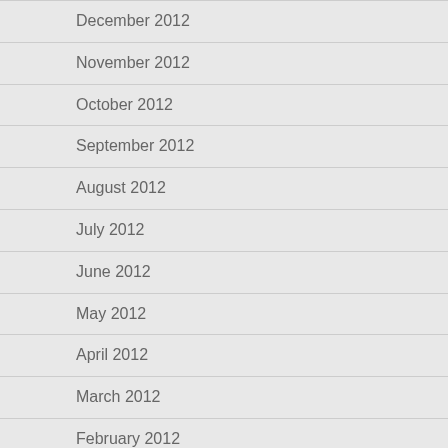December 2012
November 2012
October 2012
September 2012
August 2012
July 2012
June 2012
May 2012
April 2012
March 2012
February 2012
January 2012